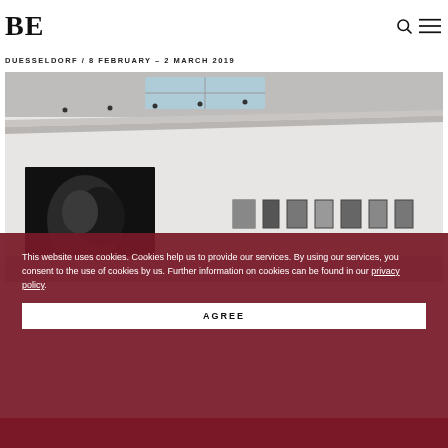BE
DUESSELDORF / 8 FEBRUARY – 2 MARCH 2019
[Figure (photo): Gallery interior showing artworks on white walls with skylights in the ceiling. A large dark framed artwork on the left wall and a row of smaller framed photographs on the right wall.]
This website uses cookies. Cookies help us to provide our services. By using our services, you consent to the use of cookies by us. Further information on cookies can be found in our privacy policy.
AGREE